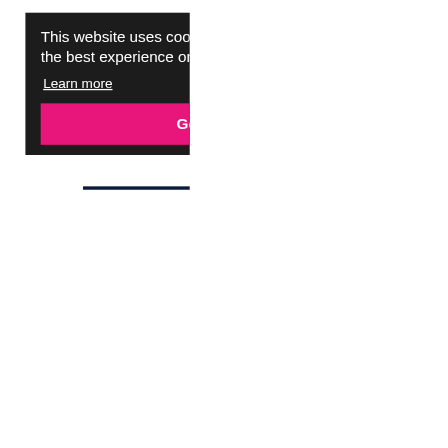This website uses cookies to ensure you get the best experience on our website.
Learn more
Got it!
TAILORED AND INVALIDATE THE CYLINDER HEAD WARRANTY.
DOWNLOAD CYLINDER HEAD PREINSTALLATION & WARRANTY INFORMATION (PDF)
SEARCH BY VRN
SELECT VEHICLE
SEARCH BY REFERENCE